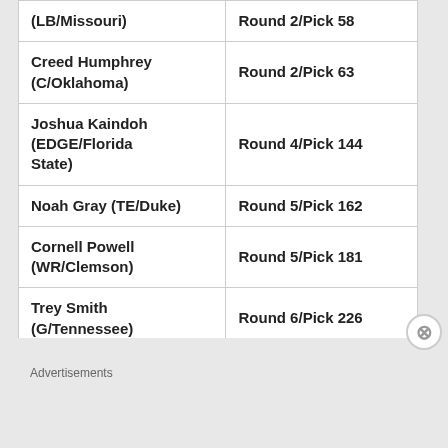| Player | Pick |
| --- | --- |
| (LB/Missouri) | Round 2/Pick 58 |
| Creed Humphrey (C/Oklahoma) | Round 2/Pick 63 |
| Joshua Kaindoh (EDGE/Florida State) | Round 4/Pick 144 |
| Noah Gray (TE/Duke) | Round 5/Pick 162 |
| Cornell Powell (WR/Clemson) | Round 5/Pick 181 |
| Trey Smith (G/Tennessee) | Round 6/Pick 226 |
Advertisements